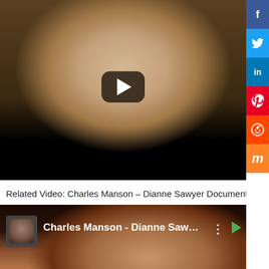[Figure (screenshot): Video thumbnail showing a smiling woman with long blonde/brown hair, with a YouTube-style play button overlay. Lower portion is black (video player controls area).]
Related Video: Charles Manson – Dianne Sawyer Document
[Figure (screenshot): Second video thumbnail for 'Charles Manson - Dianne Sawyer ...' showing a small channel icon on the left (portrait of a man), the video title in white text, a three-dot menu icon, and a green play arrow on the right. Background shows a woman's face/hair.]